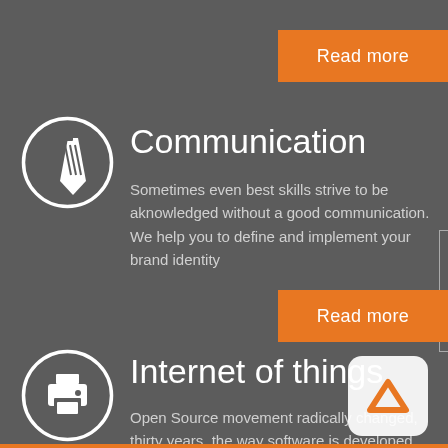[Figure (other): Orange 'Read more' button at top right]
[Figure (illustration): White pen/pencil icon inside a white circle outline on dark background — Communication section icon]
Communication
Sometimes even best skills strive to be aknowledged without a good communication. We help you to define and implement your brand identity
[Figure (other): Orange 'Read more' button mid right]
[Figure (illustration): White printer icon inside a white circle outline on dark background — Internet of things section icon]
Internet of things
Open Source movement radically changed, thirty years, the way software is developed and how data are shared. Now a further step in this
[Figure (logo): White rounded square with orange chevron/caret logo overlay at bottom right]